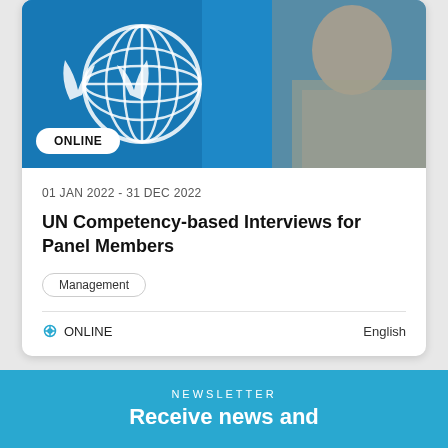[Figure (photo): Photo of a woman in front of a blue UN globe/world logo banner, with 'ONLINE' badge overlay]
01 JAN 2022 - 31 DEC 2022
UN Competency-based Interviews for Panel Members
Management
ONLINE
English
NEWSLETTER
Receive news and